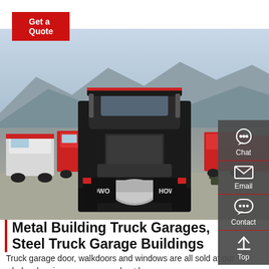Get a Quote
[Figure (photo): Rear view of HOWO semi-trucks in a large parking lot with mountains in the background. Multiple red-accented heavy trucks visible, with two HOWO logos visible on the rear mudflaps of the closest truck.]
Chat
Email
Contact
Top
Metal Building Truck Garages, Steel Truck Garage Buildings
Truck garage door, walkdoors and windows are all sold at our wholesale prices, compare and get huge